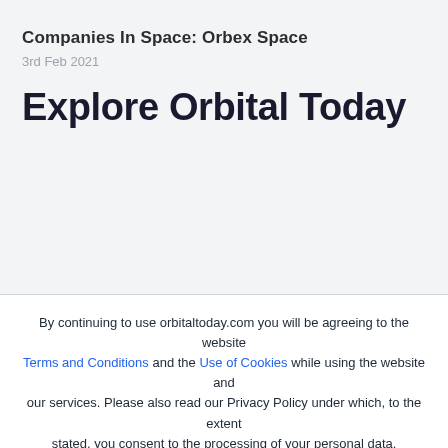Companies In Space: Orbex Space
3rd Feb 2021
Explore Orbital Today
By continuing to use orbitaltoday.com you will be agreeing to the website Terms and Conditions and the Use of Cookies while using the website and our services. Please also read our Privacy Policy under which, to the extent stated, you consent to the processing of your personal data.
Accept